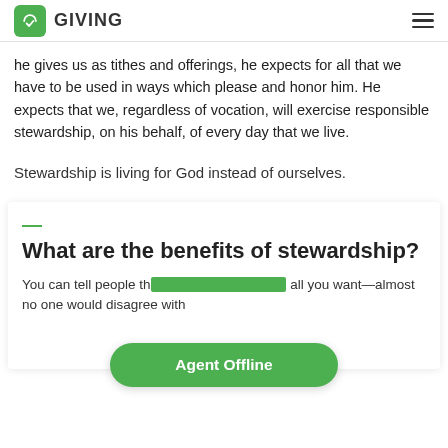GIVING
he gives us as tithes and offerings, he expects for all that we have to be used in ways which please and honor him. He expects that we, regardless of vocation, will exercise responsible stewardship, on his behalf, of every day that we live.
Stewardship is living for God instead of ourselves.
What are the benefits of stewardship?
You can tell people th all you want—almost no one would disagree with